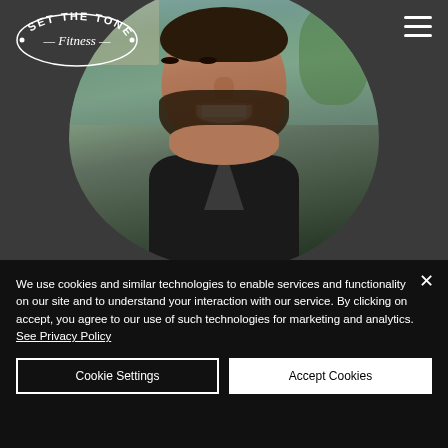[Figure (photo): Set The Tone Fitness website screenshot showing a smiling man with dark hair and beard wearing a black jacket, displayed in an organic blob-shaped frame on a dark background. Logo in top-left, hamburger menu icon in top-right.]
We use cookies and similar technologies to enable services and functionality on our site and to understand your interaction with our service. By clicking on accept, you agree to our use of such technologies for marketing and analytics. See Privacy Policy
Cookie Settings
Accept Cookies